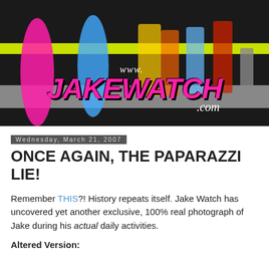[Figure (illustration): JakeWatch.com website banner featuring pop culture figures (Marilyn Monroe, Nixon, Elvis, Beatles, etc.) on a dark background with pink, green, and gray stripes, and the www.JAKEWATCH.com logo in pink lettering]
Wednesday, March 21, 2007
ONCE AGAIN, THE PAPARAZZI LIE!
Remember THIS?! History repeats itself. Jake Watch has uncovered yet another exclusive, 100% real photograph of Jake during his actual daily activities.
Altered Version: